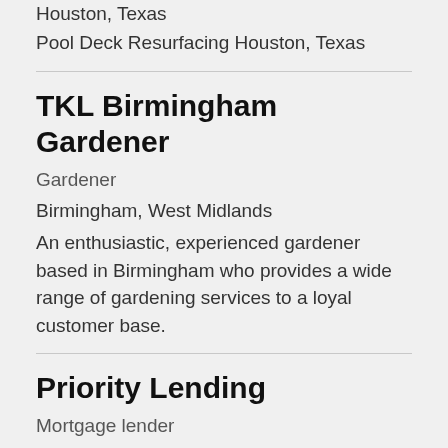Houston, Texas
Pool Deck Resurfacing Houston, Texas
TKL Birmingham Gardener
Gardener
Birmingham, West Midlands
An enthusiastic, experienced gardener based in Birmingham who provides a wide range of gardening services to a loyal customer base.
Priority Lending
Mortgage lender
Tucson, AZ